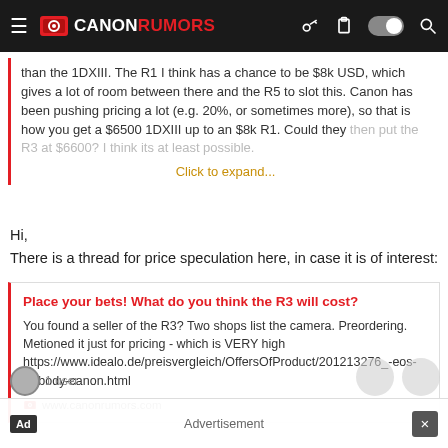CANONRUMORS
than the 1DXIII. The R1 I think has a chance to be $8k USD, which gives a lot of room between there and the R5 to slot this. Canon has been pushing pricing a lot (e.g. 20%, or sometimes more), so that is how you get a $6500 1DXIII up to an $8k R1. Could they then put the R3 at $6600? I think its at least possible.
Click to expand...
Hi,
There is a thread for price speculation here, in case it is of interest:
Place your bets! What do you think the R3 will cost?
You found a seller of the R3? Two shops list the camera. Preordering. Metioned it just for pricing - which is VERY high https://www.idealo.de/preisvergleich/OffersOfProduct/201213276_-eos-r3-body-canon.html
www.canonrumors.com
Advertisement